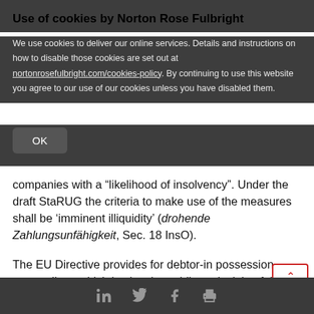Use of cookies by Norton Rose Fulbright
We use cookies to deliver our online services. Details and instructions on how to disable those cookies are set out at nortonrosefulbright.com/cookies-policy. By continuing to use this website you agree to our use of our cookies unless you have disabled them.
OK
companies with a “likelihood of insolvency”. Under the draft StaRUG the criteria to make use of the measures shall be ‘imminent illiquidity’ (drohende Zahlungsunfähigkeit, Sec. 18 InsO).
The EU Directive provides for debtor-in possession proceedings which is also the guiding principle of the draft StaRUG.
LinkedIn Twitter Facebook Print